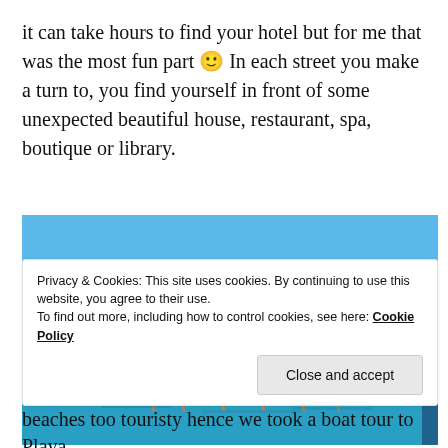it can take hours to find your hotel but for me that was the most fun part 🙂 In each street you make a turn to, you find yourself in front of some unexpected beautiful house, restaurant, spa, boutique or library.
[Figure (photo): Photo of overwater bungalows and thatched-roof structures built on a pier over bright blue tropical ocean water, with clear blue sky in the background.]
Privacy & Cookies: This site uses cookies. By continuing to use this website, you agree to their use.
To find out more, including how to control cookies, see here: Cookie Policy
[Close and accept]
beaches too touristy hence we took a boat tour to Playa